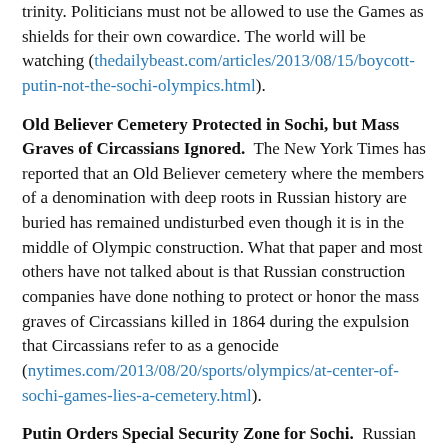trinity. Politicians must not be allowed to use the Games as shields for their own cowardice. The world will be watching (thedailybeast.com/articles/2013/08/15/boycott-putin-not-the-sochi-olympics.html).
Old Believer Cemetery Protected in Sochi, but Mass Graves of Circassians Ignored. The New York Times has reported that an Old Believer cemetery where the members of a denomination with deep roots in Russian history are buried has remained undisturbed even though it is in the middle of Olympic construction. What that paper and most others have not talked about is that Russian construction companies have done nothing to protect or honor the mass graves of Circassians killed in 1864 during the expulsion that Circassians refer to as a genocide (nytimes.com/2013/08/20/sports/olympics/at-center-of-sochi-games-lies-a-cemetery.html).
Putin Orders Special Security Zone for Sochi. Russian President Vladimir Putin has signed an order settin up a special security zone in and around Sochi before and during the Olympics. Under its terms, more siloviki will be sent to the region, access to the city will be limited especially to cars, and